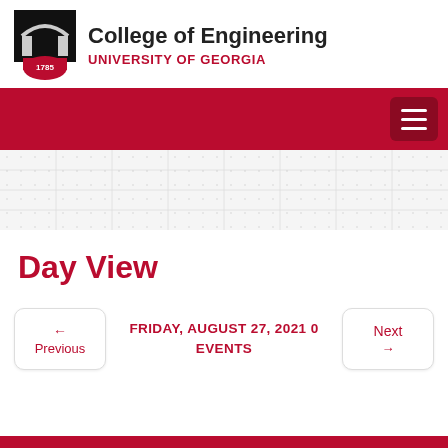[Figure (logo): University of Georgia College of Engineering logo with arch icon and shield with year 1785]
College of Engineering
UNIVERSITY OF GEORGIA
[Figure (other): Red navigation bar with hamburger menu icon]
[Figure (other): Light grey grid/dotted pattern banner area]
Day View
← Previous
FRIDAY, AUGUST 27, 2021 0 EVENTS
Next →